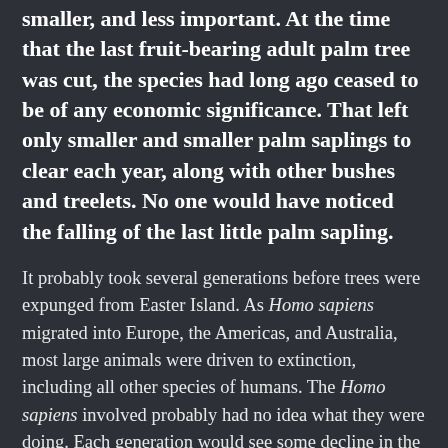smaller, and less important. At the time that the last fruit-bearing adult palm tree was cut, the species had long ago ceased to be of any economic significance. That left only smaller and smaller palm saplings to clear each year, along with other bushes and treelets. No one would have noticed the falling of the last little palm sapling.
It probably took several generations before trees were expunged from Easter Island. As Homo sapiens migrated into Europe, the Americas, and Australia, most large animals were driven to extinction, including all other species of humans. The Homo sapiens involved probably had no idea what they were doing. Each generation would see some decline in the abundance of an animal, but